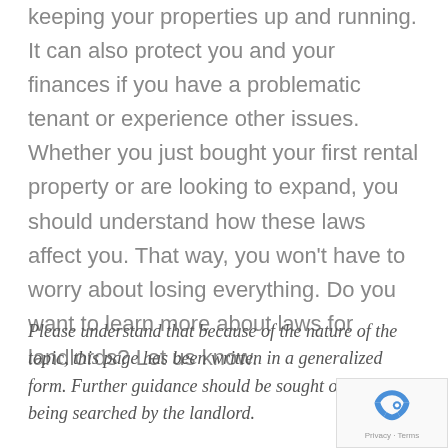keeping your properties up and running. It can also protect you and your finances if you have a problematic tenant or experience other issues. Whether you just bought your first rental property or are looking to expand, you should understand how these laws affect you. That way, you won't have to worry about losing everything. Do you want to learn more about laws for landlords? Let us know.
Please understand that because of the nature of the topic, this page has been written in a generalized form. Further guidance should be sought on the topic being searched by the landlord.